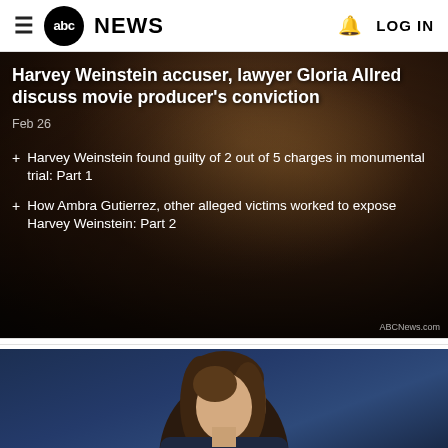abc NEWS  LOG IN
Harvey Weinstein accuser, lawyer Gloria Allred discuss movie producer's conviction
Feb 26
+ Harvey Weinstein found guilty of 2 out of 5 charges in monumental trial: Part 1
+ How Ambra Gutierrez, other alleged victims worked to expose Harvey Weinstein: Part 2
ABCNews.com
[Figure (photo): Woman with long brown hair photographed against a dark navy blue background, cropped at shoulder level]